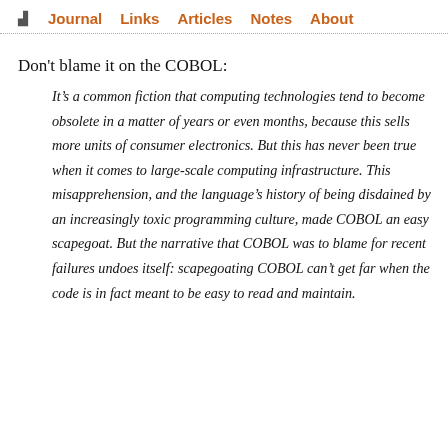Journal  Links  Articles  Notes  About
Don't blame it on the COBOL:
It’s a common fiction that computing technologies tend to become obsolete in a matter of years or even months, because this sells more units of consumer electronics. But this has never been true when it comes to large-scale computing infrastructure. This misapprehension, and the language’s history of being disdained by an increasingly toxic programming culture, made COBOL an easy scapegoat. But the narrative that COBOL was to blame for recent failures undoes itself: scapegoating COBOL can’t get far when the code is in fact meant to be easy to read and maintain.